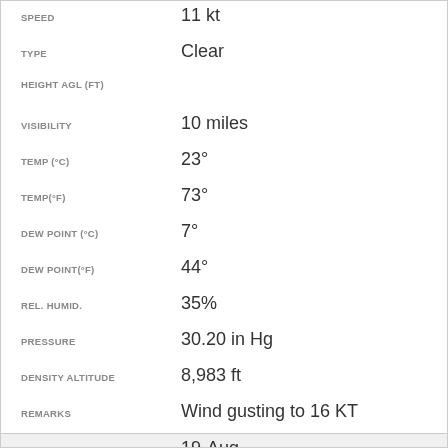| Field | Value |
| --- | --- |
| SPEED | 11 kt |
| TYPE | Clear |
| HEIGHT AGL (FT) |  |
| VISIBILITY | 10 miles |
| TEMP (°C) | 23° |
| TEMP(°F) | 73° |
| DEW POINT (°C) | 7° |
| DEW POINT(°F) | 44° |
| REL. HUMID. | 35% |
| PRESSURE | 30.20 in Hg |
| DENSITY ALTITUDE | 8,983 ft |
| REMARKS | Wind gusting to 16 KT |
| DATE | 19-Aug |
| TIME (MDT) | 02:53PM |
| FLIGHT RULES | VFR |
| WIND DIR. | 170° |
| SPEED | 7 kt |
| TYPE | Clear |
| HEIGHT AGL (FT) |  |
| VISIBILITY | 10 miles |